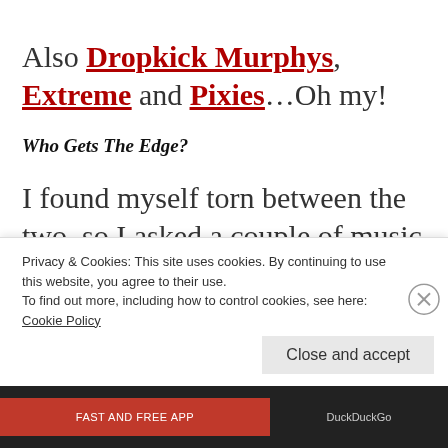Also Dropkick Murphys, Extreme and Pixies…Oh my!
Who Gets The Edge?
I found myself torn between the two, so I asked a couple of music
Privacy & Cookies: This site uses cookies. By continuing to use this website, you agree to their use.
To find out more, including how to control cookies, see here: Cookie Policy
Close and accept